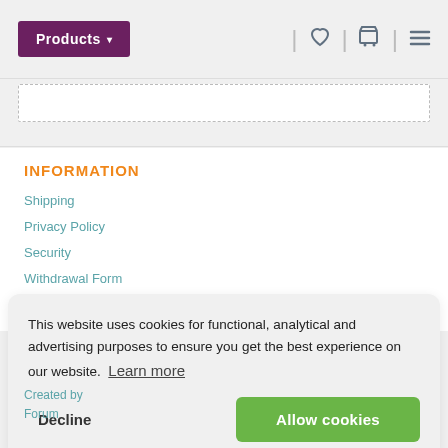Products ▾
INFORMATION
Shipping
Privacy Policy
Security
Withdrawal Form
Terms & Conditions
This website uses cookies for functional, analytical and advertising purposes to ensure you get the best experience on our website.  Learn more
Decline
Allow cookies
Created by
Forum